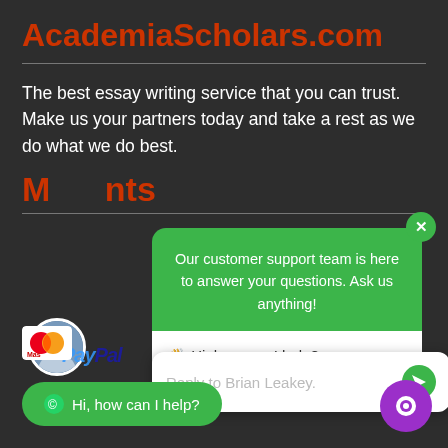AcademiaScholars.com
The best essay writing service that you can trust. Make us your partners today and take a rest as we do what we do best.
M...nts
[Figure (screenshot): Chat support popup widget with green header saying 'Our customer support team is here to answer your questions. Ask us anything!' and white body with 'Hi, how can I help?' message, close X button, and reply input box saying 'Reply to Brian Leakey.' with green send arrow button]
[Figure (screenshot): Green WhatsApp-style button at bottom left reading 'Hi, how can I help?' and purple chat bubble icon at bottom right]
[Figure (screenshot): Payment logos: Mastercard, PayPal, Discover Network]